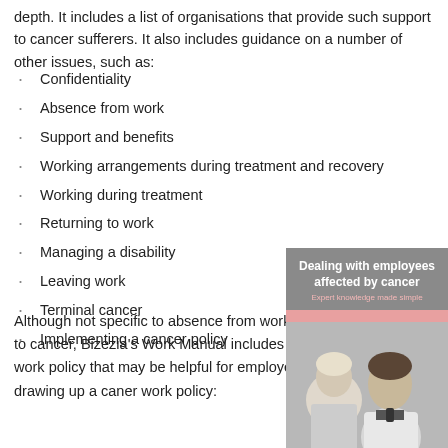depth. It includes a list of organisations that provide such support to cancer sufferers. It also includes guidance on a number of other issues, such as:
Confidentiality
Absence from work
Support and benefits
Working arrangements during treatment and recovery
Working during treatment
Returning to work
Managing a disability
Leaving work
Terminal cancer
Implementing a cancer policy
Although not specific to absence from work due to cancer, Bizezia's Work Manual includes a work policy that may be helpful for employers drawing up a caner work policy:
[Figure (photo): Book cover titled 'Dealing with employees affected by cancer' with a black and white photo of two people, one in a white coat (doctor), with a pink banner strip below the title text reading 'Expert knowledge made simple'.]